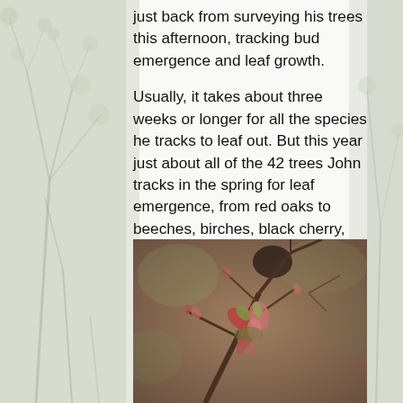just back from surveying his trees this afternoon, tracking bud emergence and leaf growth.

Usually, it takes about three weeks or longer for all the species he tracks to leaf out. But this year just about all of the 42 trees John tracks in the spring for leaf emergence, from red oaks to beeches, birches, black cherry, red maple, paper birch, trembling aspen and striped maple broke bud within a week's time.
[Figure (photo): Close-up photograph of a red maple (or similar tree) branch with small pink-red emerging buds and tiny leaves, with bare branches and blurred forest background in brown and muted tones.]